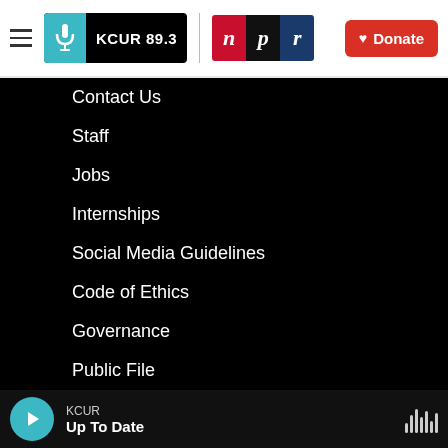KCUR 89.3 | NPR | Donate
Contact Us
Staff
Jobs
Internships
Social Media Guidelines
Code of Ethics
Governance
Public File
KCUR Up To Date